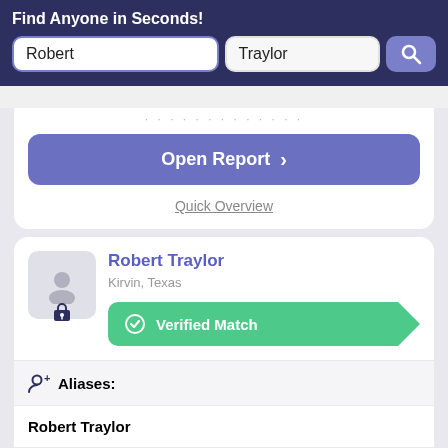Find Anyone in Seconds!
Robert (first name input)
Traylor (last name input)
Open Report >
Quick Overview
Robert Traylor
Kirvin, Texas
Verified Match
Aliases:
Robert Traylor
Phone Numbers:
903-599-YYYY